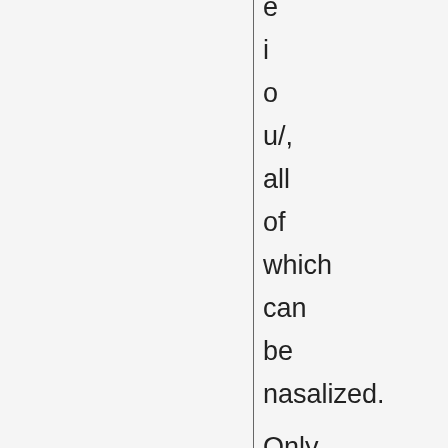e
i
o
u/,
all
of
which
can
be
nasalized.

Only
/a
o
u/
can
be